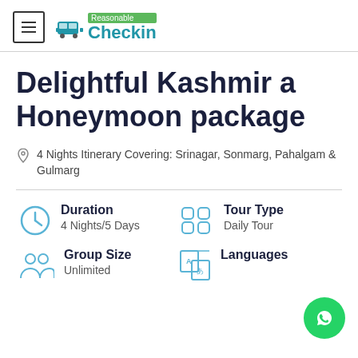Reasonable Checkin
Delightful Kashmir a Honeymoon package
4 Nights Itinerary Covering: Srinagar, Sonmarg, Pahalgam & Gulmarg
Duration 4 Nights/5 Days
Tour Type Daily Tour
Group Size Unlimited
Languages